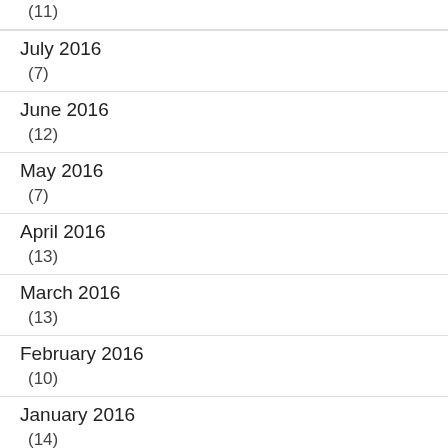(11)
July 2016
(7)
June 2016
(12)
May 2016
(7)
April 2016
(13)
March 2016
(13)
February 2016
(10)
January 2016
(14)
December 2015
(17)